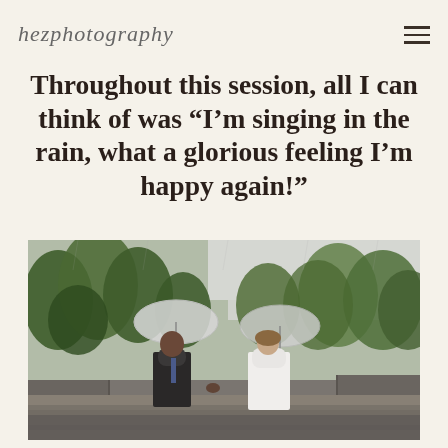hezphotography
Throughout this session, all I can think of was “I’m singing in the rain, what a glorious feeling I’m happy again!”
[Figure (photo): A couple walking hand-in-hand on a rainy day outdoors on a stone terrace, each holding a clear dome umbrella. The groom is in a dark suit and the bride is in a white lace dress. Green trees are visible in the background with an overcast sky.]